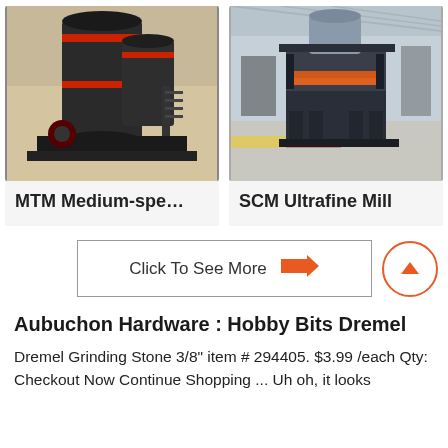[Figure (photo): MTM Medium-speed grinding mill machine, large dark industrial cylindrical equipment on a warehouse floor]
MTM Medium-spe…
[Figure (photo): SCM Ultrafine Mill machine, grey industrial press/mill equipment on gravel floor in a large factory hall]
SCM Ultrafine Mill
Click To See More
Aubuchon Hardware : Hobby Bits Dremel
Dremel Grinding Stone 3/8" item # 294405. $3.99 /each Qty: Checkout Now Continue Shopping ... Uh oh, it looks